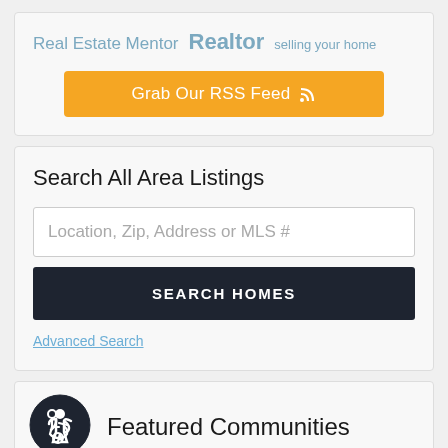Real Estate Mentor  Realtor  selling your home
[Figure (other): Orange RSS Feed button with RSS icon]
Search All Area Listings
Location, Zip, Address or MLS #
SEARCH HOMES
Advanced Search
[Figure (other): Accessibility icon — wheelchair user in circle]
Featured Communities